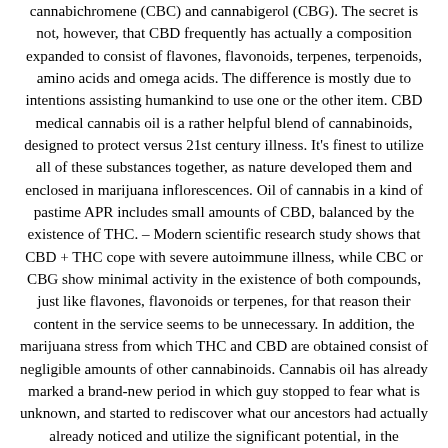cannabichromene (CBC) and cannabigerol (CBG). The secret is not, however, that CBD frequently has actually a composition expanded to consist of flavones, flavonoids, terpenes, terpenoids, amino acids and omega acids. The difference is mostly due to intentions assisting humankind to use one or the other item. CBD medical cannabis oil is a rather helpful blend of cannabinoids, designed to protect versus 21st century illness. It's finest to utilize all of these substances together, as nature developed them and enclosed in marijuana inflorescences. Oil of cannabis in a kind of pastime APR includes small amounts of CBD, balanced by the existence of THC. – Modern scientific research study shows that CBD + THC cope with severe autoimmune illness, while CBC or CBG show minimal activity in the existence of both compounds, just like flavones, flavonoids or terpenes, for that reason their content in the service seems to be unnecessary. In addition, the marijuana stress from which THC and CBD are obtained consist of negligible amounts of other cannabinoids. Cannabis oil has already marked a brand-new period in which guy stopped to fear what is unknown, and started to rediscover what our ancestors had actually already noticed and utilize the significant potential, in the beginning glance, a little bizarre relationships, associated primarily with pathology. Medical marijuana, contrary to its name, does not mean fermented are obviously able to include...